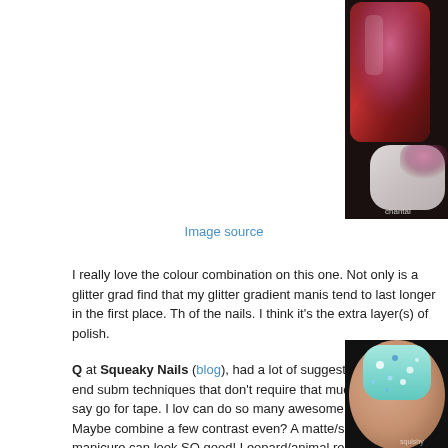[Figure (photo): Close-up photo of nail polish bottle with glittery red/burgundy polish and a hand with light-colored nails with glitter gradient. Watermark 'chantal' visible in bottom right.]
Image source
I really love the colour combination on this one. Not only is a glitter grad find that my glitter gradient manis tend to last longer in the first place. Th of the nails. I think it's the extra layer(s) of polish.
Q at Squeaky Nails (blog), had a lot of suggestions but in the end subm techniques that don't require that much time go, I'd say go for tape. I lov can do so many awesome things with it! Maybe combine a few contrast even? A matte/shiny tape manicure can look SO good! Leopard/animal really quick to do! I also love to see glitter gradients of any kind!"
[Figure (photo): Close-up photo of hand with light blue/mint nails with large glitter pieces. Dark background.]